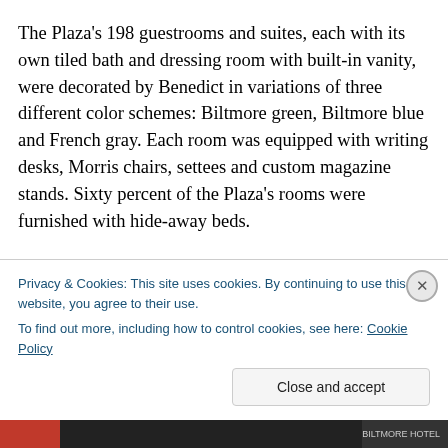The Plaza's 198 guestrooms and suites, each with its own tiled bath and dressing room with built-in vanity, were decorated by Benedict in variations of three different color schemes: Biltmore green, Biltmore blue and French gray. Each room was equipped with writing desks, Morris chairs, settees and custom magazine stands. Sixty percent of the Plaza's rooms were furnished with hide-away beds.
Privacy & Cookies: This site uses cookies. By continuing to use this website, you agree to their use. To find out more, including how to control cookies, see here: Cookie Policy
Close and accept